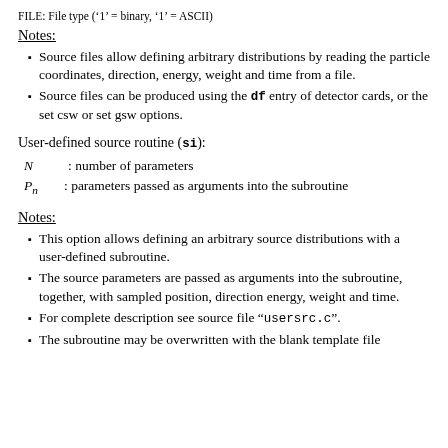FILE: File type ('1' = binary, '1' = ASCII)
Notes:
Source files allow defining arbitrary distributions by reading the particle coordinates, direction, energy, weight and time from a file.
Source files can be produced using the df entry of detector cards, or the set csw or set gsw options.
User-defined source routine (si):
N : number of parameters
Pn : parameters passed as arguments into the subroutine
Notes:
This option allows defining an arbitrary source distributions with a user-defined subroutine.
The source parameters are passed as arguments into the subroutine, together, with sampled position, direction energy, weight and time.
For complete description see source file "usersrc.c".
The subroutine may be overwritten with the blank template file